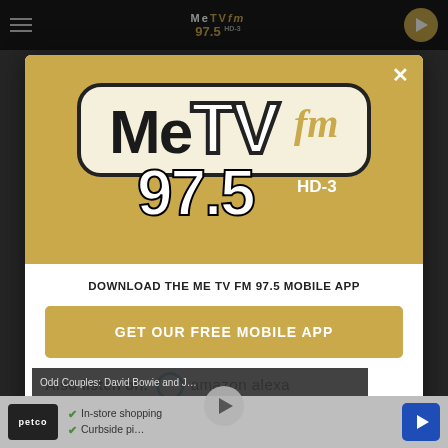[Figure (screenshot): MeTV FM 97.5 website screenshot with a modal popup dialog overlaying the page. The modal shows the MeTV FM 97.5 HD-3 logo on a gold background, a download prompt, a gold 'GET OUR FREE MOBILE APP' button, and an 'Also listen on: amazon alexa' section. Below the modal is an ad bar for Petco showing in-store shopping and curbside pickup options.]